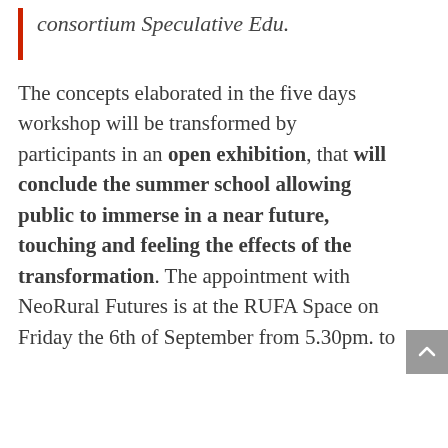consortium Speculative Edu.
The concepts elaborated in the five days workshop will be transformed by participants in an open exhibition, that will conclude the summer school allowing public to immerse in a near future, touching and feeling the effects of the transformation. The appointment with NeoRural Futures is at the RUFA Space on Friday the 6th of September from 5.30pm. to